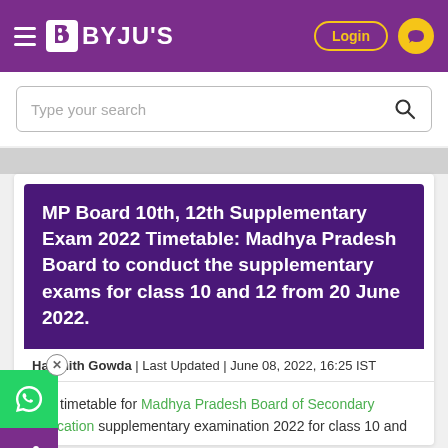BYJU'S
MP Board 10th, 12th Supplementary Exam 2022 Timetable: Madhya Pradesh Board to conduct the supplementary exams for class 10 and 12 from 20 June 2022.
Harshith Gowda | Last Updated | June 08, 2022, 16:25 IST
The timetable for Madhya Pradesh Board of Secondary Education supplementary examination 2022 for class 10 and